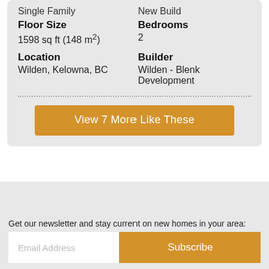Single Family
New Build
Floor Size
Bedrooms
1598 sq ft (148 m²)
2
Location
Builder
Wilden, Kelowna, BC
Wilden - Blenk Development
View 7 More Like These
Get our newsletter and stay current on new homes in your area:
Email Address
Subscribe
List Your Property
Affiliates
Testimonials
Blog